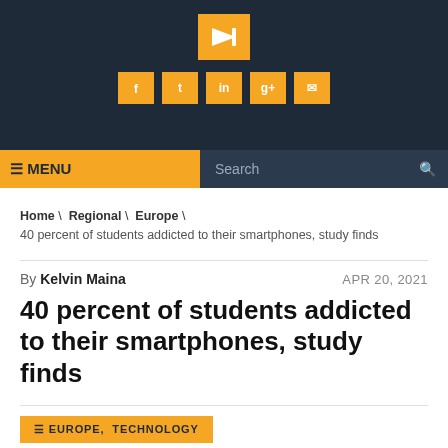[Figure (logo): Orange square logo with white arrow/play icon pointing right]
[Figure (other): Row of five orange social media icon squares in dark header]
≡ MENU   Search
Home \ Regional \ Europe \ 40 percent of students addicted to their smartphones, study finds
By Kelvin Maina   APR 20, 2021
40 percent of students addicted to their smartphones, study finds
≡ EUROPE, TECHNOLOGY